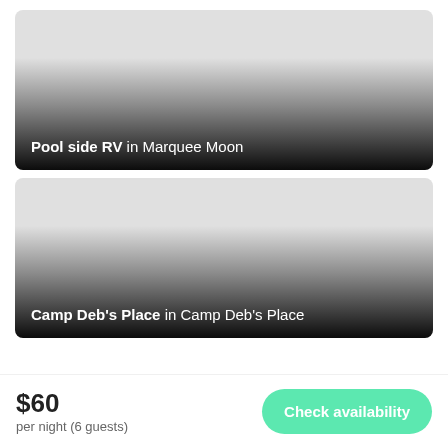[Figure (photo): Listing card image for 'Pool side RV in Marquee Moon' with a gradient overlay and white text label at the bottom]
[Figure (photo): Listing card image for 'Camp Deb's Place in Camp Deb's Place' with a gradient overlay and white text label at the bottom]
$60
per night (6 guests)
Check availability